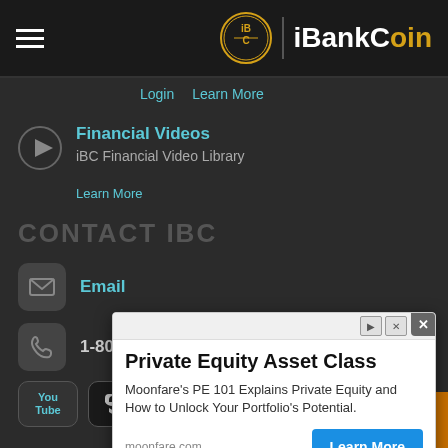iBankCoin
Login   Learn More
Financial Videos
iBC Financial Video Library
Learn More
CONTACT IBC
Email
1-800-863-7110
[Figure (screenshot): Advertisement overlay for Moonfare Private Equity Asset Class with Learn More button]
Private Equity Asset Class
Moonfare's PE 101 Explains Private Equity and How to Unlock Your Portfolio's Potential.
moonfare.com   Learn More